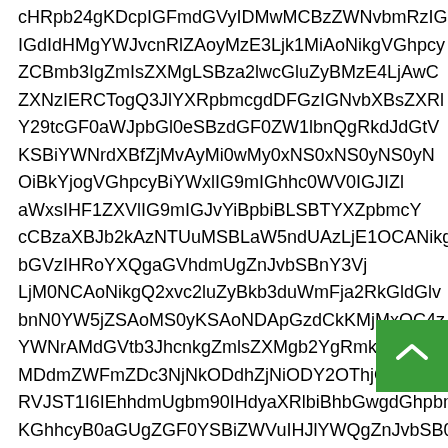cHRpb24gKDcpIGFmdGVyIDMwMCBzZWNvbmRzIG
IGdIdHMgYWJvcnRlZAoyMzE3Ljk1MiAoNikgVGhpcy
ZCBmb3IgZmIsZXMgLSBza2lwcGluZyBMzE4LjAwC
ZXNzIERCTogQ3JlYXRpbmcgdDFGzIGNvbXBsZXRl
Y29tcGF0aWJpbGl0eSBzdGF0ZW1lbnQgRkdJdGtV
KSBiYWNrdXBfZjMvAyMi0wMy0xNS0xNS0yNS0yN
OiBkYjogVGhpcyBiYWxlIG9mIGhhc0WV0IGJIZl
aWxsIHF1ZXVlIG9mIGJvYiBpbiBLSBTYXZpbmcY
cCBzaXBJb2kAzNTUuMSBLaW5ndUAzLjE1OCANikgU
bGVzIHRoYXQgaGVhdmUgZnJvbSBnY3Vj
LjM0NCAoNikgQ2xvc2luZyBkb3duWmFja2RkGldGlv
bnN0YW5jZSAoMS0yKSAoNDApGzdCkKMjMxOC4z
YWNrAMdGVtb3JhcnkgZmlsZXMgb2YgRmkzdGhpc0
MDdmZWFmZDc3NjNkODdhZjNiODY2OThjOGIzOS
UVJST1I6IEhhdmUgbm90IHdyaXRlbiBhbGwgdGhpbmbi
KGhhcyB0aGUgZGF0YSBiZWVuIHJlYWQgZnJvbSB0aGUgdG
hiBub3QgaGF2ZSBiZWVuIHNhdmVkIHRvIHN0b3JhZ2Uh